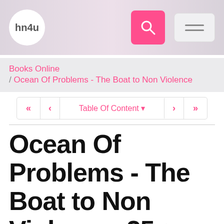hn4u [logo] [search] [menu]
Books Online / Ocean Of Problems - The Boat to Non Violence
« < Table Of Content ▼ > »
Ocean Of Problems - The Boat to Non Violence: 25 ▶ Non-Violence is the Ultimate